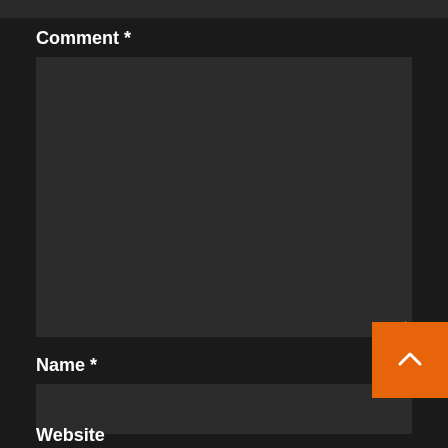Comment *
[Figure (screenshot): Dark textarea input field for comment, with a resize handle at bottom right]
Name *
[Figure (screenshot): Dark text input field for name]
Email *
[Figure (screenshot): Dark text input field for email]
Website